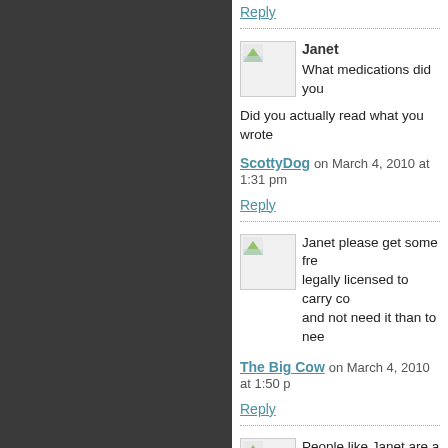Reply
Janet
What medications did you
Did you actually read what you wrote
ScottyDog on March 4, 2010 at 1:31 pm
Reply
Janet please get some fre... legally licensed to carry co... and not need it than to nee
The Big Cow on March 4, 2010 at 1:50 p
Reply
People like Janet are a my... Patriot Act, I'm confident...